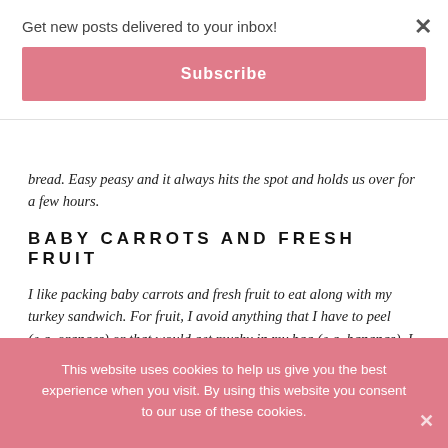Get new posts delivered to your inbox!
Subscribe
bread. Easy peasy and it always hits the spot and holds us over for a few hours.
BABY CARROTS AND FRESH FRUIT
I like packing baby carrots and fresh fruit to eat along with my turkey sandwich. For fruit, I avoid anything that I have to peel (e.g. oranges) or that would get mushy in my bag (e.g. bananas). I pre-slice apples to make them easier to eat
This website uses cookies to help us give you the best experience when you visit. By using this website you consent to our use of these cookies.